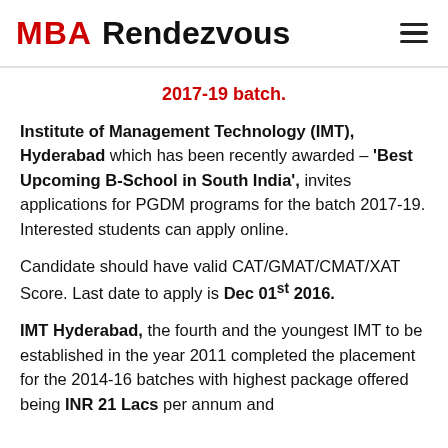MBA Rendezvous
2017-19 batch.
Institute of Management Technology (IMT), Hyderabad which has been recently awarded – 'Best Upcoming B-School in South India', invites applications for PGDM programs for the batch 2017-19. Interested students can apply online.
Candidate should have valid CAT/GMAT/CMAT/XAT Score. Last date to apply is Dec 01st 2016.
IMT Hyderabad, the fourth and the youngest IMT to be established in the year 2011 completed the placement for the 2014-16 batches with highest package offered being INR 21 Lacs per annum and